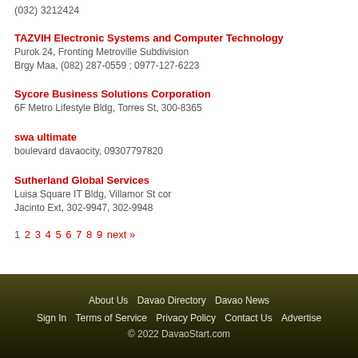(032) 3212424
TAZVIH Electronic Systems and Computer Technology
Purok 24, Fronting Metroville Subdivision
Brgy Maa, (082) 287-0559 ; 0977-127-6223
Sycore Business Solutions Corporation
6F Metro Lifestyle Bldg, Torres St, 300-8365
swa ultimate
boulevard davaocity, 09307797820
Sutherland Global Services
Luisa Square IT Bldg, Villamor St cor Jacinto Ext, 302-9947, 302-9948
1 2 3 4 5 6 7 8 9 next »
About Us  Davao Directory  Davao News  Sign In  Terms of Service  Privacy Policy  Contact Us  Advertise  © 2022 DavaoStart.com